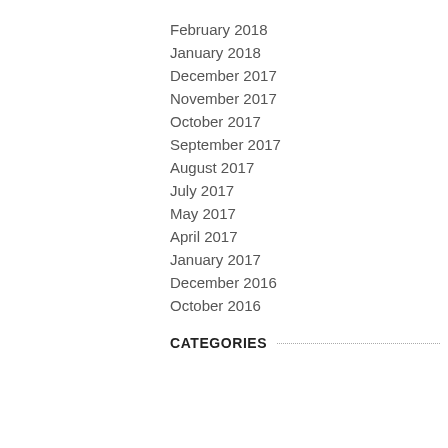February 2018
January 2018
December 2017
November 2017
October 2017
September 2017
August 2017
July 2017
May 2017
April 2017
January 2017
December 2016
October 2016
CATEGORIES